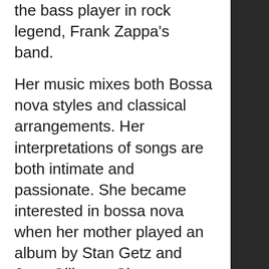the bass player in rock legend, Frank Zappa's band. Her music mixes both Bossa nova styles and classical arrangements. Her interpretations of songs are both intimate and passionate. She became interested in bossa nova when her mother played an album by Stan Getz and Joao Gilberto. She says hearing Joao Gilberto's singing made her realize you can sing more intimately and use your voice to convey that intimacy and passion. While at UCLA she started taking some classes in Bossa nova and since then it has changed her trajectory. Although she has only released 4 solo albums Gretchen Parlato can be heard singing on over 80 jazz artists albums